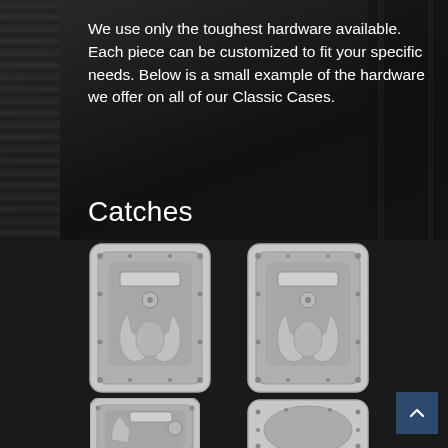We use only the toughest hardware available. Each piece can be customized to fit your specific needs. Below is a small example of the hardware we offer on all of our Classic Cases.
Catches
[Figure (photo): Four metal butterfly catches/latches for classic cases, shown in a 2x2 grid. Each catch is a silver/aluminium recessed latch mechanism mounted in a rectangular plate with rounded corners and screw holes. Top two show the full butterfly latch mechanism, bottom left shows a smaller latch, bottom right shows the plain recessed oval plate.]